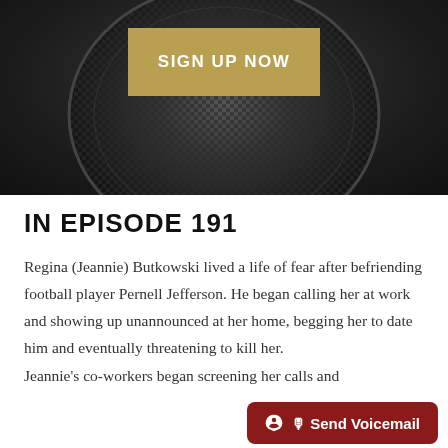[Figure (photo): Close-up photo of a dark podcast microphone with mesh grill, dark background. A gold/tan 'SIGN UP NOW' button overlay is centered on the image.]
IN EPISODE 191
Regina (Jeannie) Butkowski lived a life of fear after befriending football player Pernell Jefferson. He began calling her at work and showing up unannounced at her home, begging her to date him and eventually threatening to kill her.
Jeannie's co-workers began screening her calls and